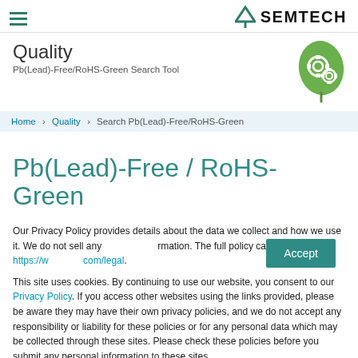SEMTECH
Quality
Pb(Lead)-Free/RoHS-Green Search Tool
[Figure (illustration): Green leaf icon with gear/cog symbols inside]
Home > Quality > Search Pb(Lead)-Free/RoHS-Green
Pb(Lead)-Free / RoHS-Green
Our Privacy Policy provides details about the data we collect and how we use it. We do not sell any information. The full policy can be read at https://www...com/legal.
This site uses cookies. By continuing to use our website, you consent to our Privacy Policy. If you access other websites using the links provided, please be aware they may have their own privacy policies, and we do not accept any responsibility or liability for these policies or for any personal data which may be collected through these sites. Please check these policies before you submit any personal information to these sites.